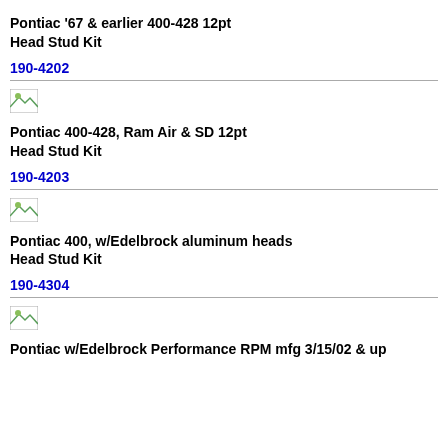Pontiac '67 & earlier 400-428 12pt Head Stud Kit
190-4202
[Figure (photo): Small broken/placeholder image icon]
Pontiac 400-428, Ram Air & SD 12pt Head Stud Kit
190-4203
[Figure (photo): Small broken/placeholder image icon]
Pontiac 400, w/Edelbrock aluminum heads Head Stud Kit
190-4304
[Figure (photo): Small broken/placeholder image icon]
Pontiac w/Edelbrock Performance RPM mfg 3/15/02 & up